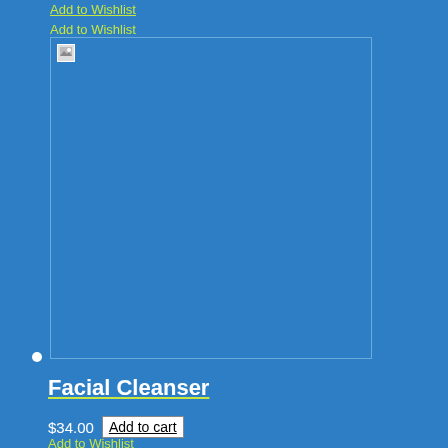Add to Wishlist
Add to Wishlist
[Figure (photo): Product image placeholder showing a broken image icon on a blue background, bordered rectangle]
• (dot indicator)
Facial Cleanser
$34.00 Add to cart
Add to Wishlist